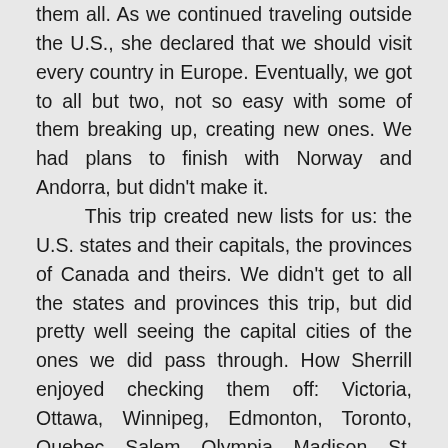them all. As we continued traveling outside the U.S., she declared that we should visit every country in Europe. Eventually, we got to all but two, not so easy with some of them breaking up, creating new ones. We had plans to finish with Norway and Andorra, but didn't make it.

This trip created new lists for us: the U.S. states and their capitals, the provinces of Canada and theirs. We didn't get to all the states and provinces this trip, but did pretty well seeing the capital cities of the ones we did pass through. How Sherrill enjoyed checking them off: Victoria, Ottawa, Winnipeg, Edmonton, Toronto, Quebec. Salem, Olympia, Madison, St. Paul, Albany, Providence, Hartford, Boston, Trenton, Richmond, Nashville, Oklahoma City (oil wells pumping on the state capitol grounds), and on to Santa Fe and Phoenix. Then there were lists of historic cities and sites: Washington DC, of course (where I took one of my favorite photographs of Sherrill and Simone), New York City, Philadelphia, and all those New England Revolutionary War sites, Niagara Falls, Mississippi River, Carlsbad Caverns, Petrified Forest, and more. And the famous homes